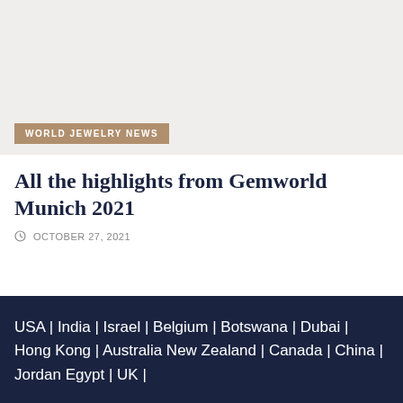[Figure (photo): Light gray placeholder image for a jewelry/gemworld article]
WORLD JEWELRY NEWS
All the highlights from Gemworld Munich 2021
OCTOBER 27, 2021
USA | India | Israel | Belgium | Botswana | Dubai  | Hong Kong | Australia New Zealand | Canada | China  | Jordan Egypt | UK |